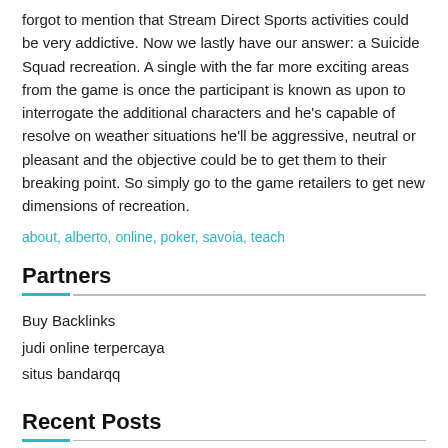forgot to mention that Stream Direct Sports activities could be very addictive. Now we lastly have our answer: a Suicide Squad recreation. A single with the far more exciting areas from the game is once the participant is known as upon to interrogate the additional characters and he's capable of resolve on weather situations he'll be aggressive, neutral or pleasant and the objective could be to get them to their breaking point. So simply go to the game retailers to get new dimensions of recreation.
about, alberto, online, poker, savoia, teach
Partners
Buy Backlinks
judi online terpercaya
situs bandarqq
Recent Posts
Ten Unheard Ways To achieve Higher Credit Card
12:56 pm By dayapapa
This fashion, extra knowledge is available to make predictions. Now that the forecasting models are chosen for each macroeconomic indicator, and the predictions are made, we Read More »